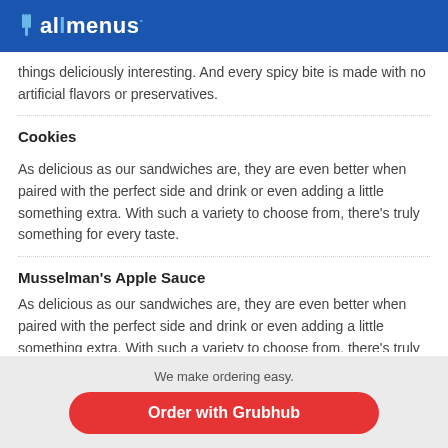allmenus
things deliciously interesting. And every spicy bite is made with no artificial flavors or preservatives.
Cookies
As delicious as our sandwiches are, they are even better when paired with the perfect side and drink or even adding a little something extra. With such a variety to choose from, there’s truly something for every taste.
Musselman’s Apple Sauce
As delicious as our sandwiches are, they are even better when paired with the perfect side and drink or even adding a little something extra. With such a variety to choose from, there’s truly something for every taste.
We make ordering easy. Order with Grubhub